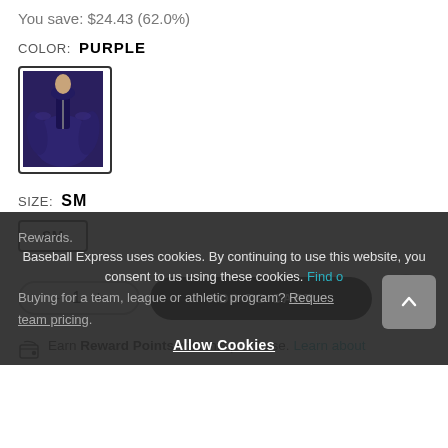You save: $24.43 (62.0%)
COLOR:  PURPLE
[Figure (photo): Purple zip-up athletic jacket thumbnail with black border]
SIZE:  SM
SM
- 1 + ADD TO CART ☆
Earn Reward Points with this purchase. Learn about Rewards.
Baseball Express uses cookies. By continuing to use this website, you consent to us using these cookies. Find out more
Buying for a team, league or athletic program? Request team pricing.
Allow Cookies